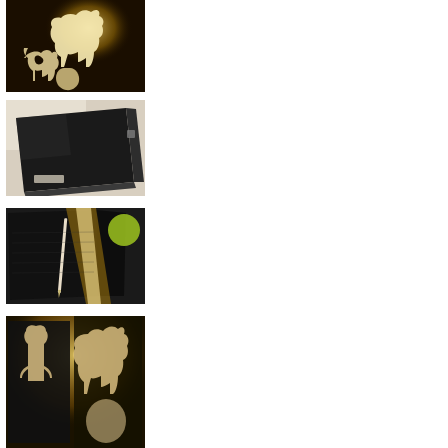[Figure (photo): Photo showing golden/warm light silhouettes of animal shapes (cow and calf) cut from paper or card, glowing against a dark background]
[Figure (photo): Photo of a black binder/folder lying on a light surface, viewed from an angle showing its spine and label]
[Figure (photo): Photo of an open black binder/notebook with a pencil or stylus resting on it, with a yellow-green circular object visible in the background]
[Figure (photo): Photo showing warm light silhouettes of animal shapes (cow and calf) viewed through cutouts in black cards/sheets]